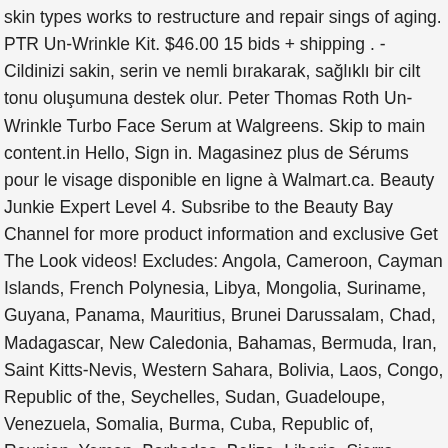skin types works to restructure and repair sings of aging. PTR Un-Wrinkle Kit. $46.00 15 bids + shipping . - Cildinizi sakin, serin ve nemli bırakarak, sağlıklı bir cilt tonu oluşumuna destek olur. Peter Thomas Roth Un-Wrinkle Turbo Face Serum at Walgreens. Skip to main content.in Hello, Sign in. Magasinez plus de Sérums pour le visage disponible en ligne à Walmart.ca. Beauty Junkie Expert Level 4. Subsribe to the Beauty Bay Channel for more product information and exclusive Get The Look videos! Excludes: Angola, Cameroon, Cayman Islands, French Polynesia, Libya, Mongolia, Suriname, Guyana, Panama, Mauritius, Brunei Darussalam, Chad, Madagascar, New Caledonia, Bahamas, Bermuda, Iran, Saint Kitts-Nevis, Western Sahara, Bolivia, Laos, Congo, Republic of the, Seychelles, Sudan, Guadeloupe, Venezuela, Somalia, Burma, Cuba, Republic of, Reunion, Yemen, Barbados, Belize, Liberia, Sierra Leone, Central African Republic, Martinique, Dominica, Niger, French Guiana, Saint Pierre and Miquelon. Un-Wrinkle Turbo Face Serum. Peter Thomas Roth Un-Wrinkle Turbo helps diminish the